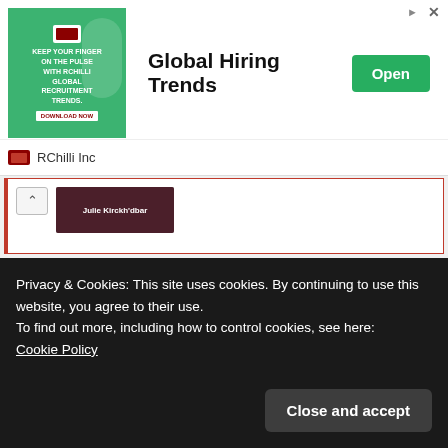[Figure (screenshot): Advertisement banner for RChilli Inc - Global Hiring Trends with green Open button]
[Figure (screenshot): Collapsed comment/post thumbnail with dark overlay showing a user photo]
Just a note, we also have heard Santa called Kris Kringle that's German for Christ Child. Also Santa in Spain means Saint.
Plus St. Nick or St. Nicholas is a real Person and who we get Santa Claus from. He was a religious person, a bishop.
The man behind the beard, St.
Privacy & Cookies: This site uses cookies. By continuing to use this website, you agree to their use.
To find out more, including how to control cookies, see here:
Cookie Policy